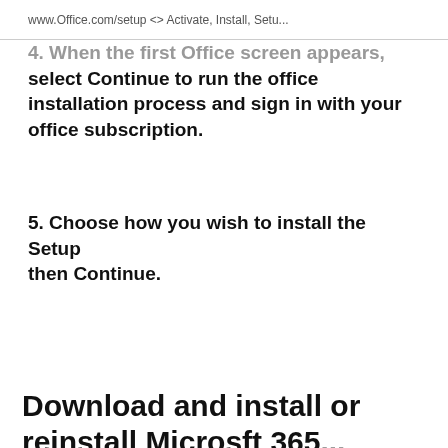www.Office.com/setup <> Activate, Install, Setu...
4. When the first Office screen appears, select Continue to run the office installation process and sign in with your office subscription.
5. Choose how you wish to install the Setup then Continue.
Download and install or reinstall Microsoft 365...